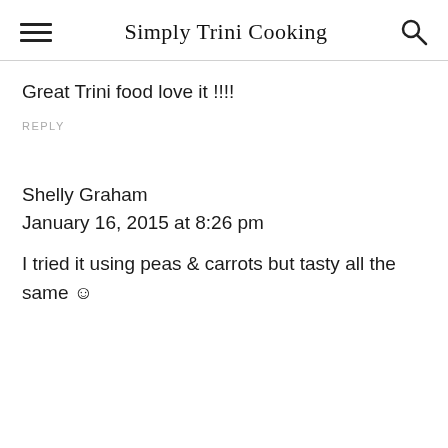Simply Trini Cooking
Great Trini food love it !!!!
REPLY
Shelly Graham
January 16, 2015 at 8:26 pm
I tried it using peas & carrots but tasty all the same ☺